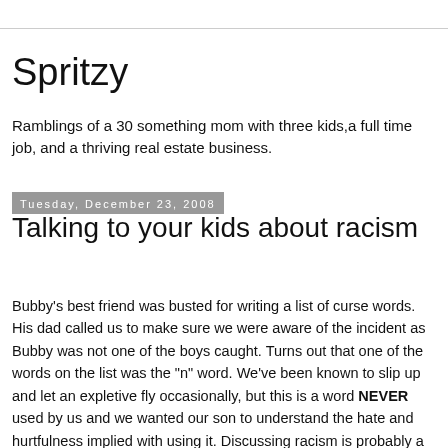Spritzy
Ramblings of a 30 something mom with three kids,a full time job, and a thriving real estate business.
Tuesday, December 23, 2008
Talking to your kids about racism
Bubby's best friend was busted for writing a list of curse words. His dad called us to make sure we were aware of the incident as Bubby was not one of the boys caught. Turns out that one of the words on the list was the "n" word. We've been known to slip up and let an expletive fly occasionally, but this is a word NEVER used by us and we wanted our son to understand the hate and hurtfulness implied with using it. Discussing racism is probably a talk long overdue as our